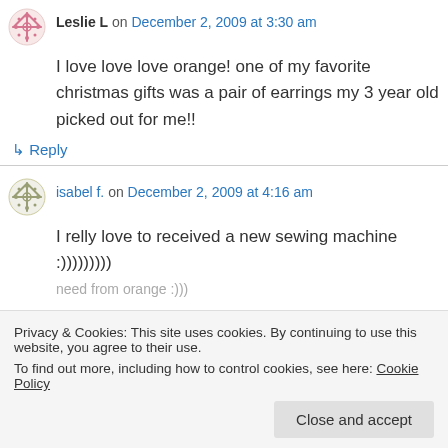Leslie L on December 2, 2009 at 3:30 am
I love love love orange! one of my favorite christmas gifts was a pair of earrings my 3 year old picked out for me!!
↳ Reply
isabel f. on December 2, 2009 at 4:16 am
I relly love to received a new sewing machine :)))))))))
Privacy & Cookies: This site uses cookies. By continuing to use this website, you agree to their use.
To find out more, including how to control cookies, see here: Cookie Policy
Close and accept